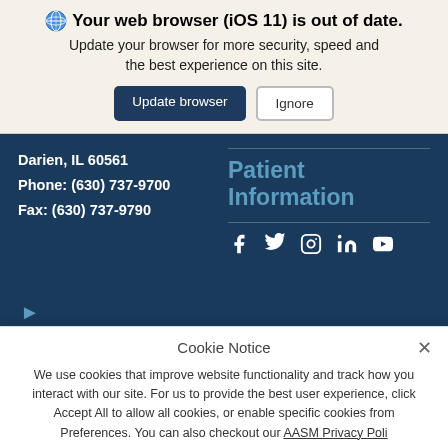🌐 Your web browser (iOS 11) is out of date. Update your browser for more security, speed and the best experience on this site.
[Figure (screenshot): Browser update banner with 'Update browser' and 'Ignore' buttons]
Darien, IL 60561
Phone: (630) 737-9700
Fax: (630) 737-9790
Patient Information
[Figure (infographic): Social media icons: Facebook, Twitter, Instagram, LinkedIn, YouTube]
Cookie Notice
We use cookies that improve website functionality and track how you interact with our site. For us to provide the best user experience, click Accept All to allow all cookies, or enable specific cookies from Preferences. You can also checkout our AASM Privacy Poli...
[Figure (screenshot): Cookie notice dialog with Preferences and Accept All buttons]